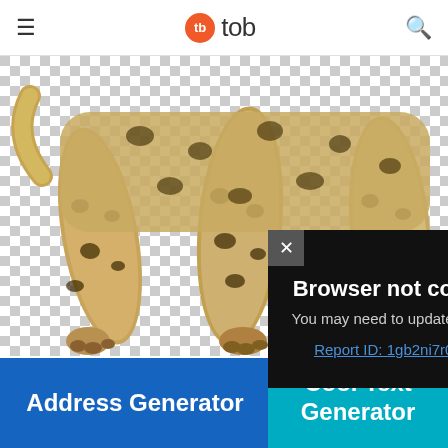tb tob
[Figure (photo): Jaguar PNG image with transparent checkered background showing the lower body and legs of a spotted jaguar]
[Figure (screenshot): Browser not compatible modal dialog on dark background. Text: 'Browser not compatible', 'You may need to update your browser', 'Report ID: 1gb2ni7r03ttvlpbokd']
Jaguar PNG imag...
Png Resolution: 471×465
Png Size: 221 kb
Powered by GliaStudio
Address Generator
Cool Text Generator